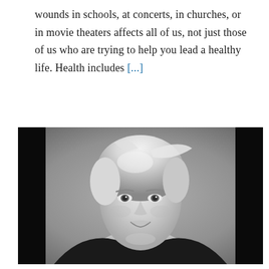wounds in schools, at concerts, in churches, or in movie theaters affects all of us, not just those of us who are trying to help you lead a healthy life. Health includes [...]
[Figure (photo): Black and white portrait photograph of a woman with short blonde hair, smiling, wearing a dark top, against a neutral background.]